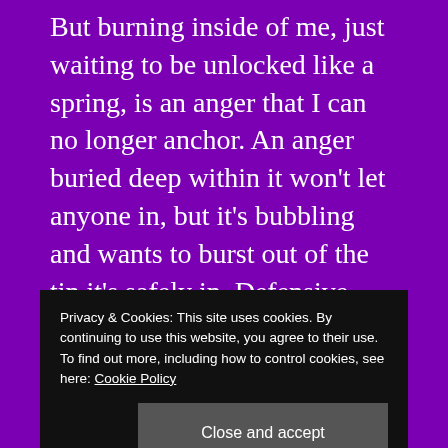But burning inside of me, just waiting to be unlocked like a spring, is an anger that I can no longer anchor. An anger buried deep within it won't let anyone in, but it's bubbling and wants to burst out of the tin it's safely in. Defensive tactics to bodyguard this feeling, let no body open the tin.

Pent up Inside, wanting to go and hide, I want to release this anger into a whirlwind. Let it out of its
Privacy & Cookies: This site uses cookies. By continuing to use this website, you agree to their use.
To find out more, including how to control cookies, see here: Cookie Policy
Eating a hole inside of me struggling to be and